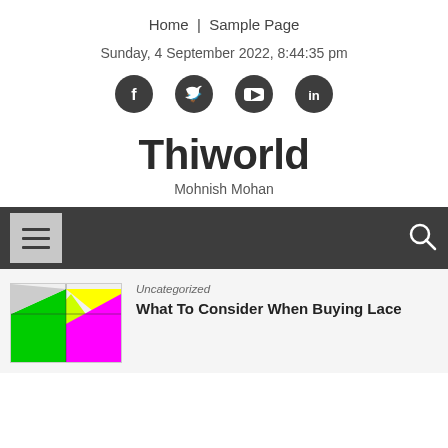Home | Sample Page
Sunday, 4 September 2022, 8:44:35 pm
[Figure (other): Social media icon buttons: Facebook, Twitter, YouTube, LinkedIn]
Thiworld
Mohnish Mohan
[Figure (other): Navigation bar with hamburger menu icon on left and search icon on right, dark grey background]
[Figure (other): Article thumbnail image with colorful map-like graphic]
Uncategorized
What To Consider When Buying Lace